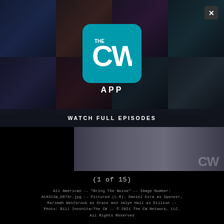[Figure (screenshot): The CW App logo — teal/green square with 'THE CW' wordmark in white, styled bold, and 'APP' text below in white letters on dark background. Background shows collage of TV show promotional images.]
WATCH FULL EPISODES
[Figure (photo): Partial image of TV show cast members from All American, showing legs/lower bodies of characters. CW watermark visible.]
(1 of 15)
All American -- "Bring The Noise" -- Image Number: ALA313a_D673r.jpg -- Pictured (L-R): Daniel Ezra as Spencer, Karimah Westbrook as Grace and Jalyn Hall as Dillion -- Photo: Bill Inoshita/The CW -- © 2021 The CW Network, LLC. All Rights Reserved